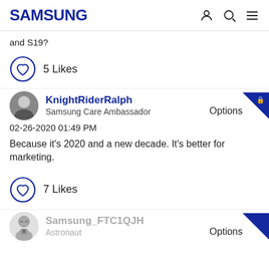SAMSUNG
and S19?
5 Likes
KnightRiderRalph
Samsung Care Ambassador
02-26-2020 01:49 PM
Because it's 2020 and a new decade. It's better for marketing.
7 Likes
Samsung_FTC1QJH
Astronaut